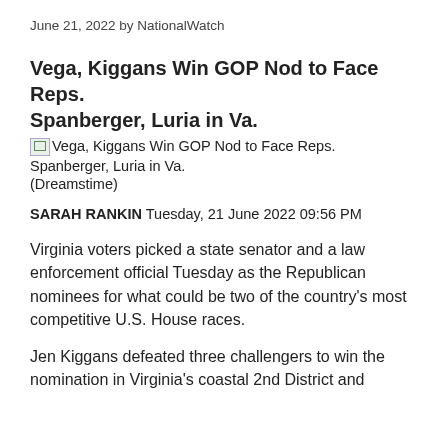June 21, 2022 by NationalWatch
Vega, Kiggans Win GOP Nod to Face Reps. Spanberger, Luria in Va.
[Figure (photo): Broken image placeholder with alt text: Vega, Kiggans Win GOP Nod to Face Reps. Spanberger, Luria in Va. (Dreamstime)]
SARAH RANKIN Tuesday, 21 June 2022 09:56 PM
Virginia voters picked a state senator and a law enforcement official Tuesday as the Republican nominees for what could be two of the country's most competitive U.S. House races.
Jen Kiggans defeated three challengers to win the nomination in Virginia's coastal 2nd District and